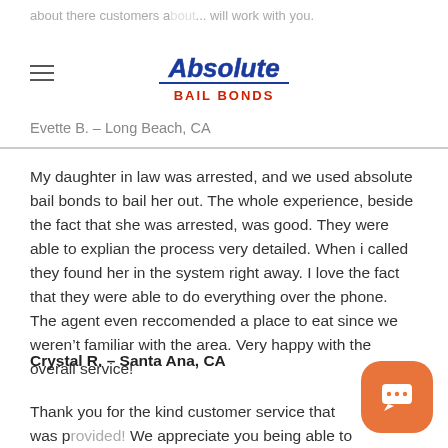about there customers a... will work with you.
Evette B. – Long Beach, CA
My daughter in law was arrested, and we used absolute bail bonds to bail her out. The whole experience, beside the fact that she was arrested, was good. They were able to explian the process very detailed. When i called they found her in the system right away. I love the fact that they were able to do everything over the phone. The agent even reccomended a place to eat since we weren't familiar with the area. Very happy with the overall service!
Crystal R. – Santa Ana, CA
Thank you for the kind customer service that was p... We appreciate you being able to answer all our questions.